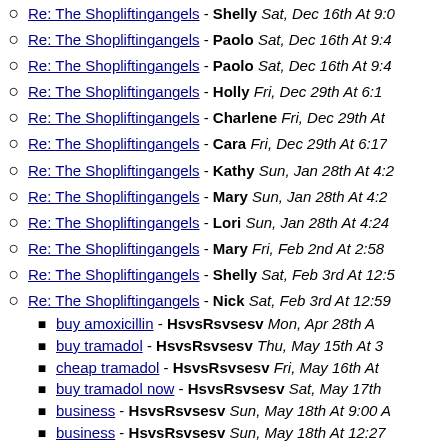Re: The Shopliftingangels - Shelly Sat, Dec 16th At 9:0
Re: The Shopliftingangels - Paolo Sat, Dec 16th At 9:4
Re: The Shopliftingangels - Paolo Sat, Dec 16th At 9:4
Re: The Shopliftingangels - Holly Fri, Dec 29th At 6:1
Re: The Shopliftingangels - Charlene Fri, Dec 29th At
Re: The Shopliftingangels - Cara Fri, Dec 29th At 6:17
Re: The Shopliftingangels - Kathy Sun, Jan 28th At 4:2
Re: The Shopliftingangels - Mary Sun, Jan 28th At 4:2
Re: The Shopliftingangels - Lori Sun, Jan 28th At 4:24
Re: The Shopliftingangels - Mary Fri, Feb 2nd At 2:58
Re: The Shopliftingangels - Shelly Sat, Feb 3rd At 12:5
Re: The Shopliftingangels - Nick Sat, Feb 3rd At 12:59
buy amoxicillin - HsvsRsvsesv Mon, Apr 28th A
buy tramadol - HsvsRsvsesv Thu, May 15th At 3
cheap tramadol - HsvsRsvsesv Fri, May 16th At
buy tramadol now - HsvsRsvsesv Sat, May 17th
business - HsvsRsvsesv Sun, May 18th At 9:00 A
business - HsvsRsvsesv Sun, May 18th At 12:27
business - HsvsRsvsesv Sun, May 18th At 3:22 P
business - HsvsRsvsesv Mon, May 19th At 2:30 A
business - HsvsRsvsesv Mon, May 19th At 5:03 A
business - HsvsRsvsesv Mon, May 19th At 8:07 A
business - HsvsRsvsesv Mon, May 19th At 11:25
business - HsvsRsvsesv Mon, May 19th At 3:29 P
business - HsvsRsvsesv Mon, May 19th At 6:09